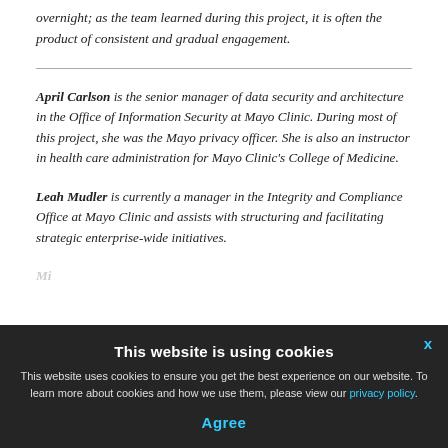overnight; as the team learned during this project, it is often the product of consistent and gradual engagement.
April Carlson is the senior manager of data security and architecture in the Office of Information Security at Mayo Clinic. During most of this project, she was the Mayo privacy officer. She is also an instructor in health care administration for Mayo Clinic's College of Medicine.
Leah Mudler is currently a manager in the Integrity and Compliance Office at Mayo Clinic and assists with structuring and facilitating strategic enterprise-wide initiatives.
This website is using cookies
This website uses cookies to ensure you get the best experience on our website. To learn more about cookies and how we use them, please view our privacy policy.
Agree